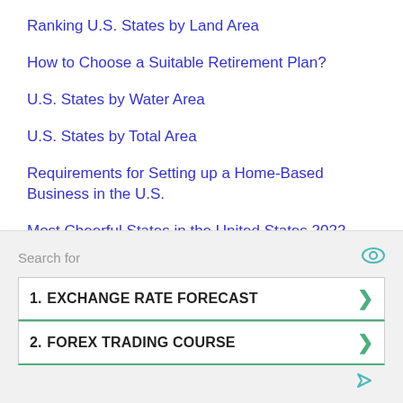Ranking U.S. States by Land Area
How to Choose a Suitable Retirement Plan?
U.S. States by Water Area
U.S. States by Total Area
Requirements for Setting up a Home-Based Business in the U.S.
Most Cheerful States in the United States 2022
Water Area of California By Counties
Search for
1. EXCHANGE RATE FORECAST
2. FOREX TRADING COURSE